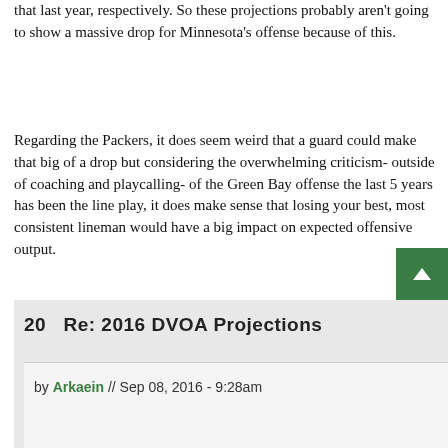that last year, respectively. So these projections probably aren't going to show a massive drop for Minnesota's offense because of this.
Regarding the Packers, it does seem weird that a guard could make that big of a drop but considering the overwhelming criticism- outside of coaching and playcalling- of the Green Bay offense the last 5 years has been the line play, it does make sense that losing your best, most consistent lineman would have a big impact on expected offensive output.
20   Re: 2016 DVOA Projections
by Arkaein // Sep 08, 2016 - 9:28am